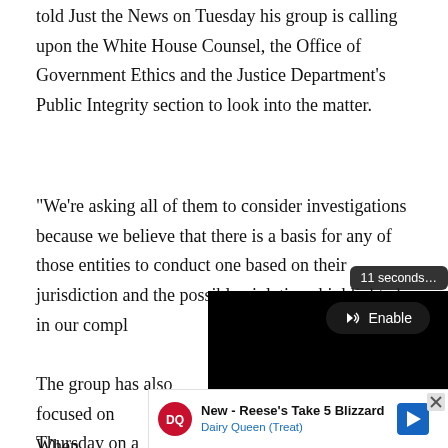told Just the News on Tuesday his group is calling upon the White House Counsel, the Office of Government Ethics and the Justice Department's Public Integrity section to look into the matter.
"We're asking all of them to consider investigations because we believe that there is a basis for any of those entities to conduct one based on their jurisdiction and the possible violations highlighted in our compl...
[Figure (screenshot): Video player overlay showing '11 seconds...' tooltip, an Enable button with speaker icon, a black video area, and a Loading progress bar.]
The group has also focused on... Thursday on a podcast that it s... a MSNBC competitor.
[Figure (illustration): Advertisement banner: New - Reese's Take 5 Blizzard, Dairy Queen (Treat) with DQ logo, X close button, blue arrow icon.]
When ...ondent